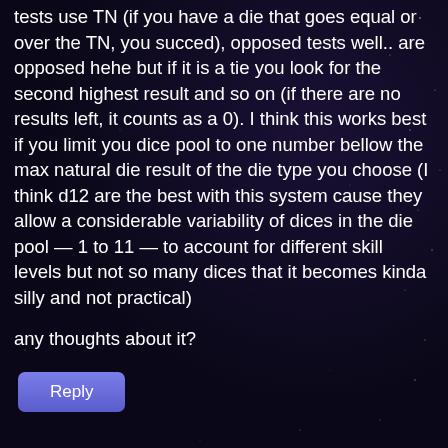tests use TN (if you have a die that goes equal or over the TN, you succed), opposed tests well.. are opposed hehe but if it is a tie you look for the second highest result and so on (if there are no results left, it counts as a 0). I think this works best if you limit you dice pool to one number bellow the max natural die result of the die type you choose (I think d12 are the best with this system cause they allow a considerable variability of dices in the die pool — 1 to 11 — to account for different skill levels but not so many dices that it becomes kinda silly and not practical)
any thoughts about it?
[Figure (other): A 'Reply' button with a purple/blue gradient background]